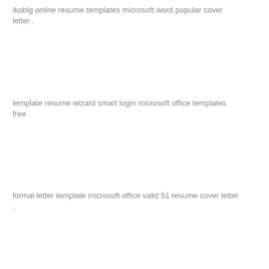ikoblg online resume templates microsoft word popular cover letter .
template resume wizard smart login microsoft office templates free .
formal letter template microsoft office valid 51 resume cover letter .